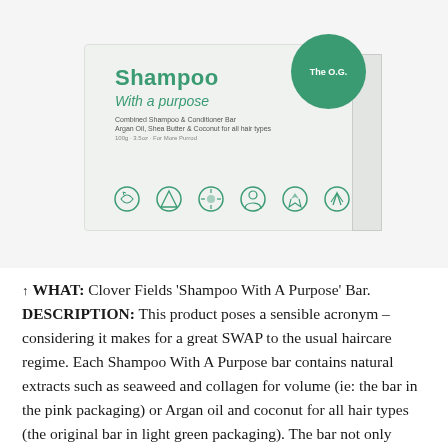[Figure (photo): Product photo of Clover Fields 'Shampoo With A Purpose' bar in light green box packaging, with a dark green circular logo badge on the top right corner showing 'The O.G.' text. The box has eco icons along the bottom.]
↑ WHAT: Clover Fields 'Shampoo With A Purpose' Bar. DESCRIPTION: This product poses a sensible acronym – considering it makes for a great SWAP to the usual haircare regime. Each Shampoo With A Purpose bar contains natural extracts such as seaweed and collagen for volume (ie: the bar in the pink packaging) or Argan oil and coconut for all hair types (the original bar in light green packaging). The bar not only takes up far less space on the shower caddy, it froths up with just a few strokes through the hair and delivers similar – if not better – results as ordinary shampoo in a bottle. Free from palm oils, sulphate and plastic. Other varieties also